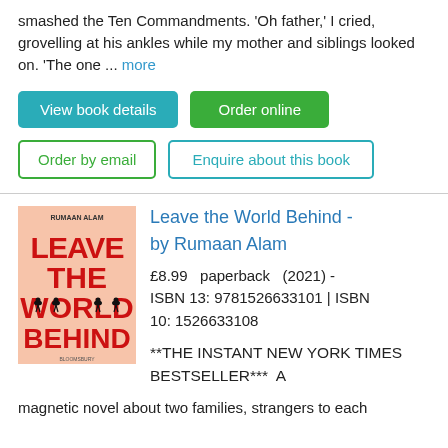smashed the Ten Commandments. 'Oh father,' I cried, grovelling at his ankles while my mother and siblings looked on. 'The one ... more
View book details
Order online
Order by email
Enquire about this book
[Figure (photo): Book cover of 'Leave the World Behind' by Rumaan Alam. Salmon/peach coloured cover with large bold red text reading LEAVE THE WORLD BEHIND and silhouettes of deer.]
Leave the World Behind - by Rumaan Alam
£8.99  paperback  (2021) - ISBN 13: 9781526633101 | ISBN 10: 1526633108
**THE INSTANT NEW YORK TIMES BESTSELLER***  A magnetic novel about two families, strangers to each